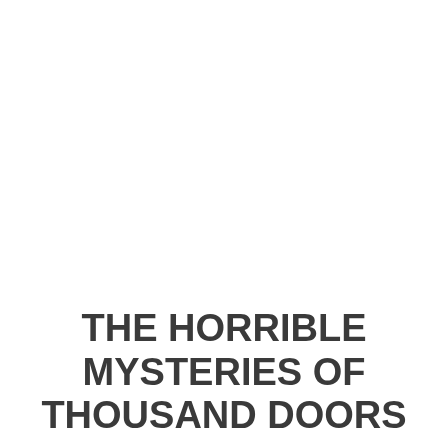THE HORRIBLE MYSTERIES OF THOUSAND DOORS